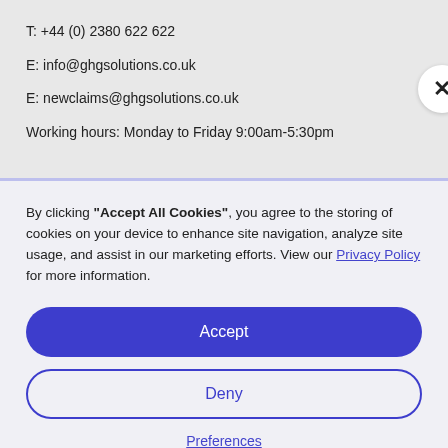T: +44 (0) 2380 622 622
E: info@ghgsolutions.co.uk
E: newclaims@ghgsolutions.co.uk
Working hours: Monday to Friday 9:00am-5:30pm
By clicking "Accept All Cookies", you agree to the storing of cookies on your device to enhance site navigation, analyze site usage, and assist in our marketing efforts. View our Privacy Policy for more information.
Accept
Deny
Preferences